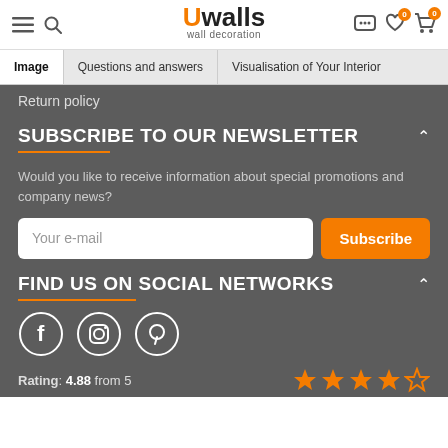Uwalls wall decoration
Image | Questions and answers | Visualisation of Your Interior
Return policy
SUBSCRIBE TO OUR NEWSLETTER
Would you like to receive information about special promotions and company news?
Your e-mail
Subscribe
FIND US ON SOCIAL NETWORKS
Rating: 4.88 from 5